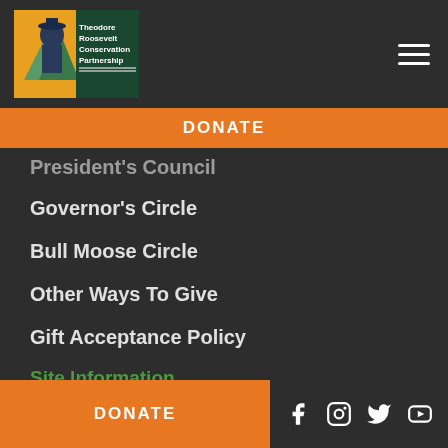Theodore Roosevelt Conservation Partnership
DONATE
President's Council
Governor's Circle
Bull Moose Circle
Other Ways To Give
Gift Acceptance Policy
Site Information
Privacy Policy and Disclosures
DONATE